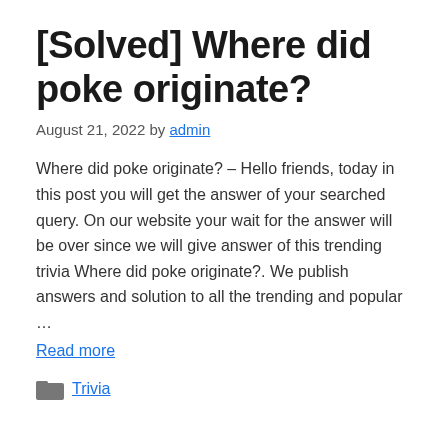[Solved] Where did poke originate?
August 21, 2022 by admin
Where did poke originate? – Hello friends, today in this post you will get the answer of your searched query. On our website your wait for the answer will be over since we will give answer of this trending trivia Where did poke originate?. We publish answers and solution to all the trending and popular …
Read more
Trivia